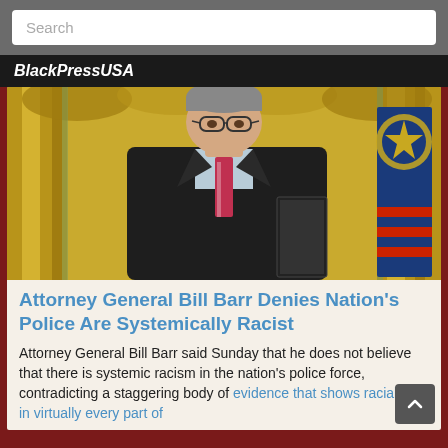Search
BlackPressUSA
[Figure (photo): Attorney General Bill Barr standing in a formal room with gold curtains and an American flag, wearing a dark suit and striped tie, holding a folder.]
Attorney General Bill Barr Denies Nation's Police Are Systemically Racist
Attorney General Bill Barr said Sunday that he does not believe that there is systemic racism in the nation's police force, contradicting a staggering body of evidence that shows racial bias in virtually every part of